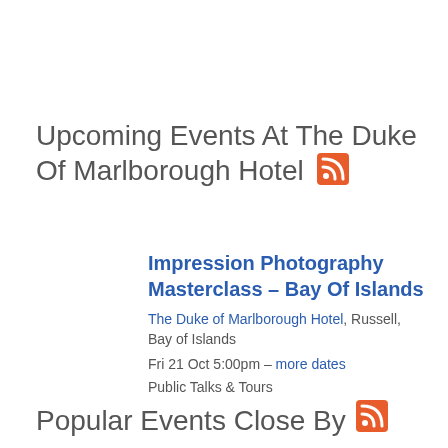Upcoming Events At The Duke Of Marlborough Hotel
Impression Photography Masterclass – Bay Of Islands
The Duke of Marlborough Hotel, Russell, Bay of Islands
Fri 21 Oct 5:00pm – more dates
Public Talks & Tours
Popular Events Close By